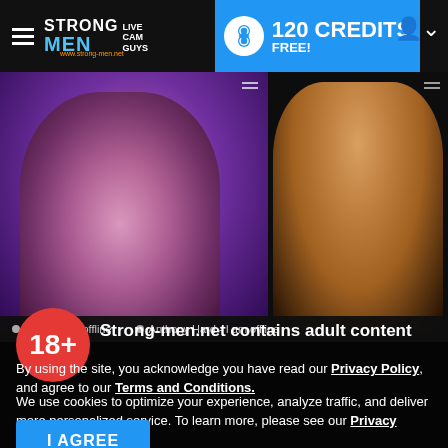Strong-men.net Live Cam Guys — 120 CREDITS FREE!
[Figure (screenshot): Two webcam thumbnails side by side: left is a tattooed man in purple/pink lighting, right is a muscular shirtless man on dark background.]
● Mich - I am offline
● Anthony Hard - I am offline
Strong-men.net contains adult content
By using the site, you acknowledge you have read our Privacy Policy, and agree to our Terms and Conditions.
We use cookies to optimize your experience, analyze traffic, and deliver more personalized service. To learn more, please see our Privacy Policy.
I AGREE